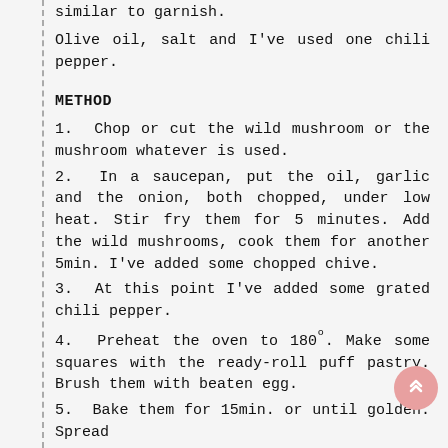similar to garnish.
Olive oil, salt and I've used one chili pepper.
METHOD
1.  Chop or cut the wild mushroom or the mushroom whatever is used.
2.  In a saucepan, put the oil, garlic and the onion, both chopped, under low heat. Stir fry them for 5 minutes. Add the wild mushrooms, cook them for another 5min. I've added some chopped chive.
3.  At this point I've added some grated chili pepper.
4.  Preheat the oven to 180º. Make some squares with the ready-roll puff pastry. Brush them with beaten egg.
5.  Bake them for 15min. or until golden. Spread